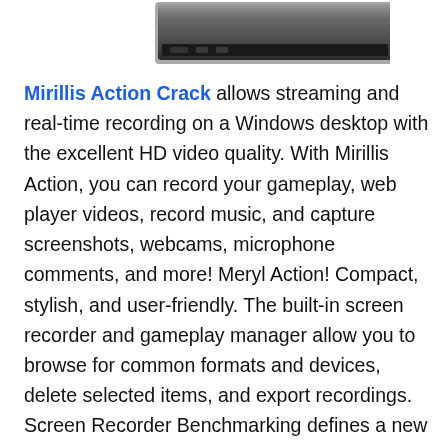[Figure (photo): Partial view of a black hardware device (likely a game console or recorder) photographed from above/front, cropped at top of page]
Mirillis Action Crack allows streaming and real-time recording on a Windows desktop with the excellent HD video quality. With Mirillis Action, you can record your gameplay, web player videos, record music, and capture screenshots, webcams, microphone comments, and more! Meryl Action! Compact, stylish, and user-friendly. The built-in screen recorder and gameplay manager allow you to browse for common formats and devices, delete selected items, and export recordings. Screen Recorder Benchmarking defines a new standard of user experience for games, gameplay, and Windows desktop real-time recording software. It creates for the original purpose. The app comes with a clear